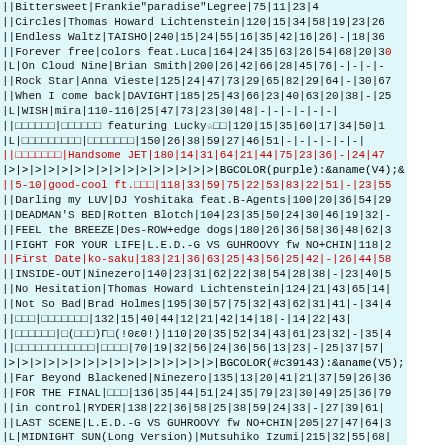| ||Bittersweet|Frankie&quot;paradise&quot;Legree|75|11|23|4... |
| ||Circles|Thomas Howard Lichtenstein|120|15|34|58|19|23|26... |
| ||Endless Waltz|TAISHO|240|15|24|55|16|35|42|16|26|-|18|36... |
| ||Forever free|colors feat.Luca|164|24|35|63|26|54|68|20|30... |
| |L|On Cloud Nine|Brian Smith|200|26|42|66|28|45|76|-|-|-|-... |
| ||Rock Star|Anna Vieste|125|24|47|73|29|65|82|29|64|-|30|67... |
| ||When I come back|DAVIGHT|185|25|43|66|23|40|63|20|38|-|25... |
| |L|WISH|mira|110-116|25|47|73|23|30|48|-|-|-|-|-|-| |
| ||□□□□□□|□□□□□□ featuring Lucky☆□□|120|15|35|60|17|34|50|1... |
| |L|□□□□□□□□□|□□□□□□□|150|26|38|59|27|46|51|-|-|-|-|-|-| |
| ||□□□□□□□|Handsome JET|180|14|31|64|21|44|75|23|36|-|24|47... |
| |>|>|>|>|>|>|>|>|>|>|>|>|>|>|>|>|BGCOLOR(purple):&aname(V4);&... |
| ||5-10|good-cool ft.□□□|118|33|59|75|22|53|83|22|51|-|23|55... |
| ||Darling my LUV|DJ Yoshitaka feat.B-Agents|100|20|36|54|29... |
| ||DEADMAN'S BED|Rotten Blotch|104|23|35|50|24|30|46|19|32|-... |
| ||FEEL the BREEZE|Des-ROW+edge dogs|180|26|36|58|36|48|62|3... |
| ||FIGHT FOR YOUR LIFE|L.E.D.-G VS GUHROOVY fw NO+CHIN|118|2... |
| ||First Date|ko-saku|183|21|36|63|25|43|56|25|42|-|26|44|58... |
| ||INSIDE-OUT|Ninezero|140|23|31|62|22|38|54|28|38|-|23|40|5... |
| ||No Hesitation|Thomas Howard Lichtenstein|124|21|43|65|14|... |
| ||Not So Bad|Brad Holmes|195|30|57|75|32|43|62|31|41|-|34|4... |
| ||□□□|□□□□□□□|132|15|40|44|12|21|42|14|18|-|14|22|43| |
| ||□□□□□□|□(□□□)Γ□(!0ε0!)|110|20|35|52|34|43|61|23|32|-|35|4... |
| ||□□□□□□□□□□□□|□□□□|70|19|32|56|24|36|56|13|23|-|25|37|57|... |
| |>|>|>|>|>|>|>|>|>|>|>|>|>|>|>|>|BGCOLOR(#c39143):&aname(V5);... |
| ||Far Beyond Blackened|Ninezero|135|13|20|41|21|37|59|26|36... |
| ||FOR THE FINAL|□□□|136|35|44|51|24|35|79|23|30|49|25|36|79... |
| ||in control|RYDER|138|22|36|58|25|38|59|24|33|-|27|39|61|... |
| ||LAST SCENE|L.E.D.-G VS GUHROOVY fw NO+CHIN|205|27|47|64|3... |
| |L|MIDNIGHT SUN(Long Version)|Mutsuhiko Izumi|215|32|55|68|... |